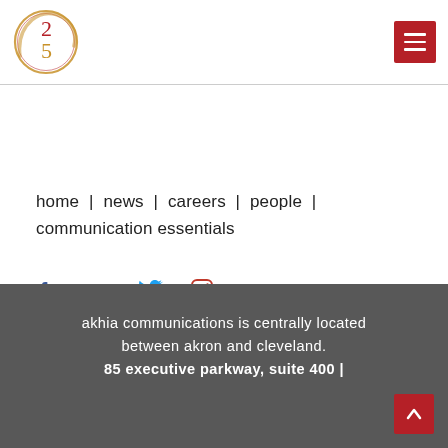[Figure (logo): Akhia Communications 25th anniversary logo: circle with '25' inside, drawn in gold/red gradient style]
[Figure (other): Red hamburger menu button (three white horizontal lines on red background)]
home | news | careers | people | communication essentials
[Figure (other): Social media icons: Facebook (blue f), LinkedIn (blue in), Twitter (blue bird), Instagram (red camera)]
akhia communications is centrally located between akron and cleveland. 85 executive parkway, suite 400 |